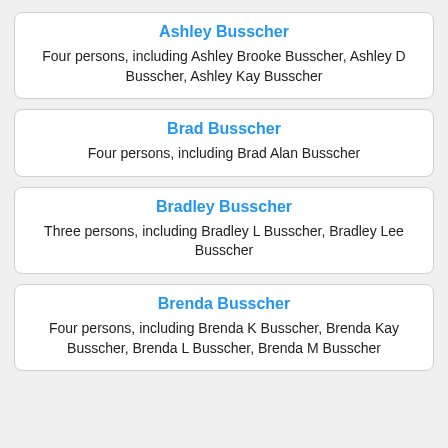Ashley Busscher
Four persons, including Ashley Brooke Busscher, Ashley D Busscher, Ashley Kay Busscher
Brad Busscher
Four persons, including Brad Alan Busscher
Bradley Busscher
Three persons, including Bradley L Busscher, Bradley Lee Busscher
Brenda Busscher
Four persons, including Brenda K Busscher, Brenda Kay Busscher, Brenda L Busscher, Brenda M Busscher